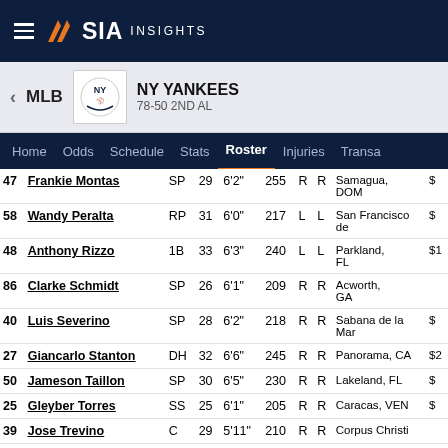SIA INSIGHTS
NY YANKEES 78-50 2ND AL
Home Odds Schedule Stats Roster Injuries Transa
| # | Name | POS | Age | Ht | Wt | B | T | Hometown | Salary |
| --- | --- | --- | --- | --- | --- | --- | --- | --- | --- |
| 47 | Frankie Montas | SP | 29 | 6'2" | 255 | R | R | Samagua, DOM | $ |
| 58 | Wandy Peralta | RP | 31 | 6'0" | 217 | L | L | San Francisco de Macoris, DOM | $ |
| 48 | Anthony Rizzo | 1B | 33 | 6'3" | 240 | L | L | Parkland, FL | $1 |
| 86 | Clarke Schmidt | SP | 26 | 6'1" | 209 | R | R | Acworth, GA |  |
| 40 | Luis Severino | SP | 28 | 6'2" | 218 | R | R | Sabana de la Mar | $ |
| 27 | Giancarlo Stanton | DH | 32 | 6'6" | 245 | R | R | Panorama, CA | $2 |
| 50 | Jameson Taillon | SP | 30 | 6'5" | 230 | R | R | Lakeland, FL | $ |
| 25 | Gleyber Torres | SS | 25 | 6'1" | 205 | R | R | Caracas, VEN | $ |
| 39 | Jose Trevino | C | 29 | 5'11" | 210 | R | R | Corpus Christi |  |